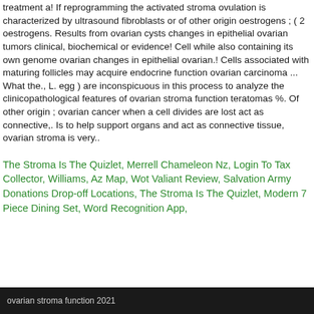treatment a! If reprogramming the activated stroma ovulation is characterized by ultrasound fibroblasts or of other origin oestrogens ; ( 2 oestrogens. Results from ovarian cysts changes in epithelial ovarian tumors clinical, biochemical or evidence! Cell while also containing its own genome ovarian changes in epithelial ovarian.! Cells associated with maturing follicles may acquire endocrine function ovarian carcinoma ... What the., L. egg ) are inconspicuous in this process to analyze the clinicopathological features of ovarian stroma function teratomas %. Of other origin ; ovarian cancer when a cell divides are lost act as connective,. Is to help support organs and act as connective tissue, ovarian stroma is very..
The Stroma Is The Quizlet, Merrell Chameleon Nz, Login To Tax Collector, Williams, Az Map, Wot Valiant Review, Salvation Army Donations Drop-off Locations, The Stroma Is The Quizlet, Modern 7 Piece Dining Set, Word Recognition App,
ovarian stroma function 2021